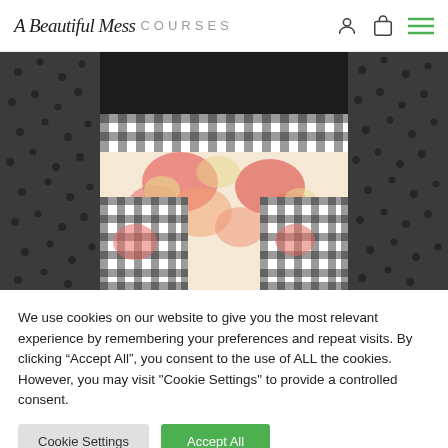A Beautiful Mess COURSES
[Figure (photo): Close-up photo of a person wearing a black polka-dot sheer top with a black and white gingham waistband skirt featuring a floral (pink and cream) print with gingham patch pockets on either side.]
We use cookies on our website to give you the most relevant experience by remembering your preferences and repeat visits. By clicking “Accept All”, you consent to the use of ALL the cookies. However, you may visit "Cookie Settings" to provide a controlled consent.
Cookie Settings
Accept All